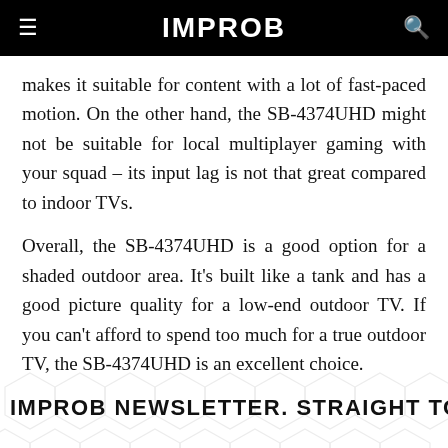IMPROB
makes it suitable for content with a lot of fast-paced motion. On the other hand, the SB-4374UHD might not be suitable for local multiplayer gaming with your squad – its input lag is not that great compared to indoor TVs.
Overall, the SB-4374UHD is a good option for a shaded outdoor area. It’s built like a tank and has a good picture quality for a low-end outdoor TV. If you can’t afford to spend too much for a true outdoor TV, the SB-4374UHD is an excellent choice.
IMPROB NEWSLETTER. STRAIGHT TO YOUR